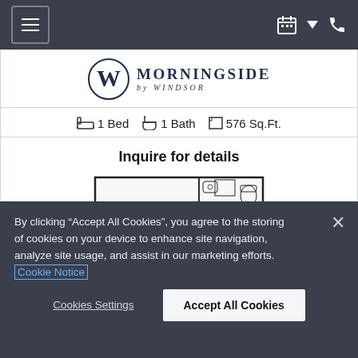Navigation bar with hamburger menu and icons
[Figure (logo): Morningside by Windsor logo with W circle monogram]
1 Bed  1 Bath  576 Sq.Ft.
Inquire for details
[Figure (engineering-diagram): Apartment floor plan showing 1 bed 1 bath 576 sq ft layout]
By clicking "Accept All Cookies", you agree to the storing of cookies on your device to enhance site navigation, analyze site usage, and assist in our marketing efforts. Cookie Notice
Cookies Settings
Accept All Cookies